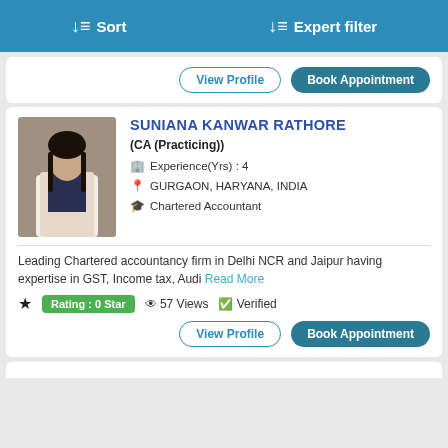↓≡ Sort   ↓≡ Expert filter
View Profile | Book Appointment
SUNIANA KANWAR RATHORE
(CA (Practicing))
Experience(Yrs) : 4
GURGAON, HARYANA, INDIA
Chartered Accountant
Leading Chartered accountancy firm in Delhi NCR and Jaipur having expertise in GST, Income tax, Audi Read More
Rating : 0 Star   57 Views   Verified
View Profile | Book Appointment